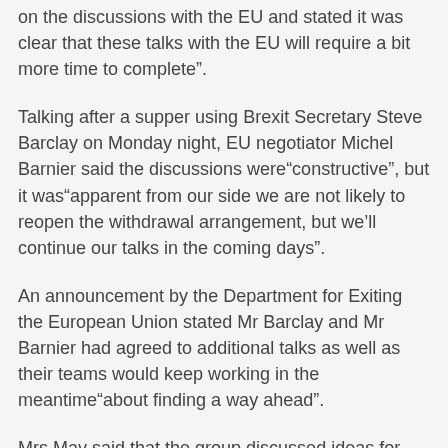on the discussions with the EU and stated it was clear that these talks with the EU will require a bit more time to complete”.
Talking after a supper using Brexit Secretary Steve Barclay on Monday night, EU negotiator Michel Barnier said the discussions were“constructive”, but it was“apparent from our side we are not likely to reopen the withdrawal arrangement, but we’ll continue our talks in the coming days”.
An announcement by the Department for Exiting the European Union stated Mr Barclay and Mr Barnier had agreed to additional talks as well as their teams would keep working in the meantime“about finding a way ahead”.
Mrs May said that the group discussed ideas for arrangements which had come out of a group of MPs back in London.